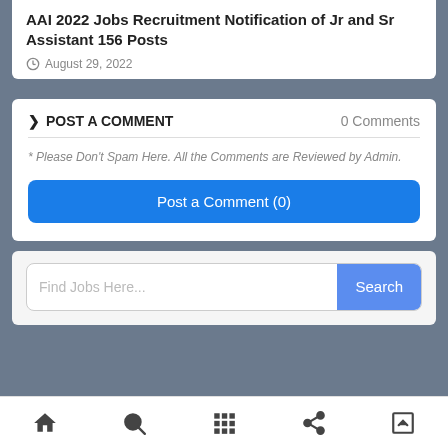AAI 2022 Jobs Recruitment Notification of Jr and Sr Assistant 156 Posts
August 29, 2022
POST A COMMENT
0 Comments
* Please Don't Spam Here. All the Comments are Reviewed by Admin.
Post a Comment (0)
Find Jobs Here...